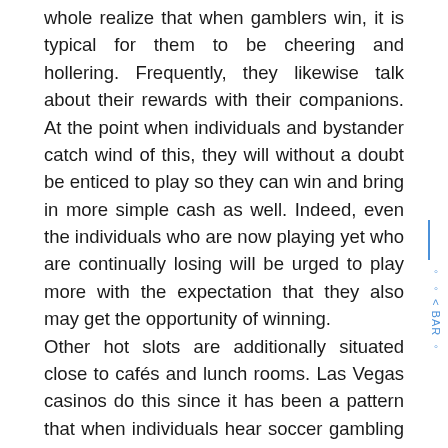whole realize that when gamblers win, it is typical for them to be cheering and hollering. Frequently, they likewise talk about their rewards with their companions. At the point when individuals and bystander catch wind of this, they will without a doubt be enticed to play so they can win and bring in more simple cash as well. Indeed, even the individuals who are now playing yet who are continually losing will be urged to play more with the expectation that they also may get the opportunity of winning.
Other hot slots are additionally situated close to cafés and lunch rooms. Las Vegas casinos do this since it has been a pattern that when individuals hear soccer gambling players hollering in fervor, the people who are eating will frequently surge and finish their food or drink quickly so they can play. The appealing game sounds and the vivid, brilliant lights coming out from the slots are